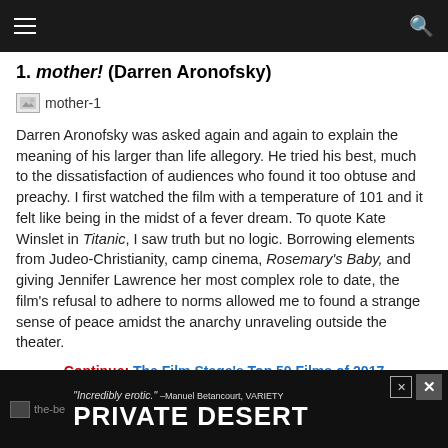Navigation bar with hamburger menu and search icon
1. mother! (Darren Aronofsky)
[Figure (photo): Placeholder image thumbnail labeled mother-1]
Darren Aronofsky was asked again and again to explain the meaning of his larger than life allegory. He tried his best, much to the dissatisfaction of audiences who found it too obtuse and preachy. I first watched the film with a temperature of 101 and it felt like being in the midst of a fever dream. To quote Kate Winslet in Titanic, I saw truth but no logic. Borrowing elements from Judeo-Christianity, camp cinema, Rosemary's Baby, and giving Jennifer Lawrence her most complex role to date, the film's refusal to adhere to norms allowed me to found a strange sense of peace amidst the anarchy unraveling outside the theater.
Continue: The Film Stage's Top 50 Films of 2017
[Figure (photo): Advertisement banner: 'Incredibly erotic.' -Manuel Betancourt, VARIETY — PRIVATE DESERT]